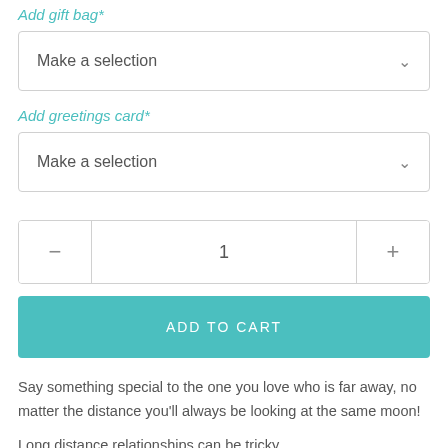Add gift bag*
[Figure (screenshot): Dropdown select box with placeholder text 'Make a selection' and a chevron arrow on the right]
Add greetings card*
[Figure (screenshot): Dropdown select box with placeholder text 'Make a selection' and a chevron arrow on the right]
[Figure (screenshot): Quantity selector with minus button, value '1', and plus button]
[Figure (screenshot): Teal 'ADD TO CART' button]
Say something special to the one you love who is far away, no matter the distance you'll always be looking at the same moon!
Long distance relationships can be tricky, especially...